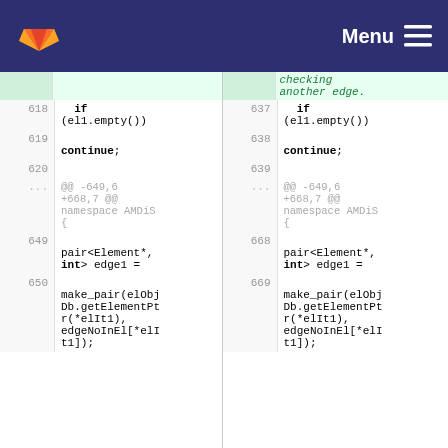GitLab - Menu
[Figure (screenshot): A GitLab code diff view showing two side-by-side panels of source code with line numbers. Left panel shows lines 618-651 and right panel shows lines 637-670. Code includes C++ snippets with 'if (el1.empty())', 'continue;', diff hunk headers '@@ -649,6 +668,7 @@ namespace AMDiS {', and 'pair<Element*, int> edge1 = make_pair(elObjDb.getElementPtr(*elIt1), edgeNoInEl[*elIt1]);'. Right panel has a green highlighted area showing a comment 'checking another edge.']